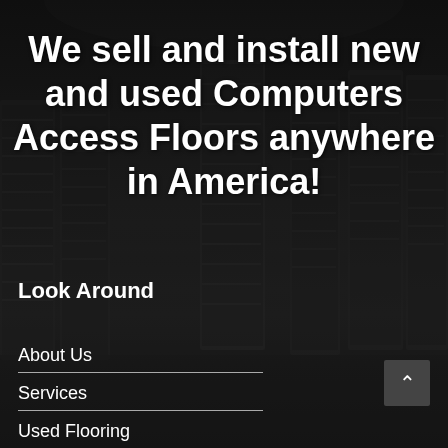[Figure (photo): Dark server room with rows of black server racks receding into the background, used as a full-page background image]
We sell and install new and used Computers Access Floors anywhere in America!
Look Around
About Us
Services
Used Flooring